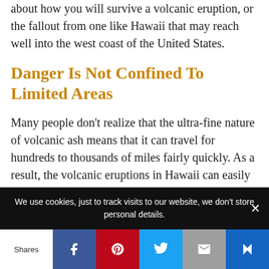about how you will survive a volcanic eruption, or the fallout from one like Hawaii that may reach well into the west coast of the United States.
Danger Is Not Confined To Limited Areas
Many people don’t realize that the ultra-fine nature of volcanic ash means that it can travel for hundreds to thousands of miles fairly quickly. As a result, the volcanic eruptions in Hawaii can easily
We use cookies, just to track visits to our website, we don’t store personal details.
Shares